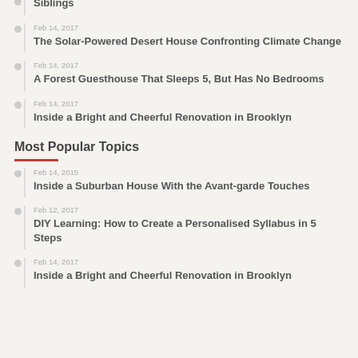Siblings
Feb 14, 2017
The Solar-Powered Desert House Confronting Climate Change
Feb 14, 2017
A Forest Guesthouse That Sleeps 5, But Has No Bedrooms
Feb 14, 2017
Inside a Bright and Cheerful Renovation in Brooklyn
Most Popular Topics
Feb 14, 2015
Inside a Suburban House With the Avant-garde Touches
Feb 12, 2017
DIY Learning: How to Create a Personalised Syllabus in 5 Steps
Feb 14, 2017
Inside a Bright and Cheerful Renovation in Brooklyn